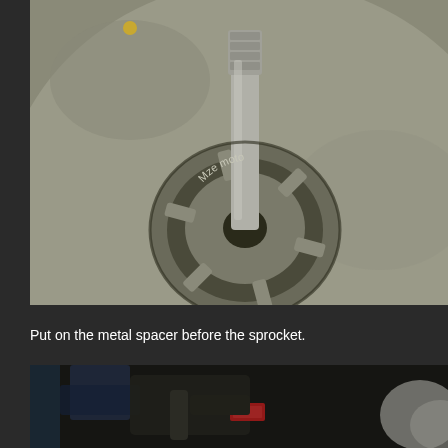[Figure (photo): Close-up photograph of a metal motor shaft and sprocket hub assembly. The threaded shaft protrudes upward from a circular metal plate with radial fins/spokes, labelled 'Mze moto' or similar brand text on the hub ring. The background shows a large gray circular disc surface.]
Put on the metal spacer before the sprocket.
[Figure (photo): Partial close-up photograph showing mechanical parts in a dark workshop setting, with blurred tools and components visible including a red-labeled item.]